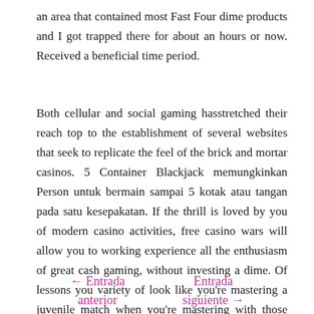an area that contained most Fast Four dime products and I got trapped there for about an hours or now. Received a beneficial time period.
Both cellular and social gaming hasstretched their reach top to the establishment of several websites that seek to replicate the feel of the brick and mortar casinos. 5 Container Blackjack memungkinkan Person untuk bermain sampai 5 kotak atau tangan pada satu kesepakatan. If the thrill is loved by you of modern casino activities, free casino wars will allow you to working experience all the enthusiasm of great cash gaming, without investing a dime. Of lessons you variety of look like you're mastering a juvenile match when you're mastering with those products.
← Entrada anterior    Entrada siguiente →